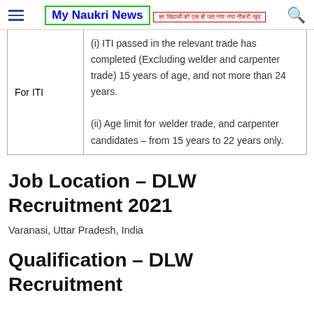My Naukri News — हर विद्यार्थी की एक ही पता नया नया नौकरी खुद
| For ITI | (i) ITI passed in the relevant trade has completed (Excluding welder and carpenter trade) 15 years of age, and not more than 24 years.
(ii) Age limit for welder trade, and carpenter candidates – from 15 years to 22 years only. |
Job Location – DLW Recruitment 2021
Varanasi, Uttar Pradesh, India
Qualification – DLW Recruitment